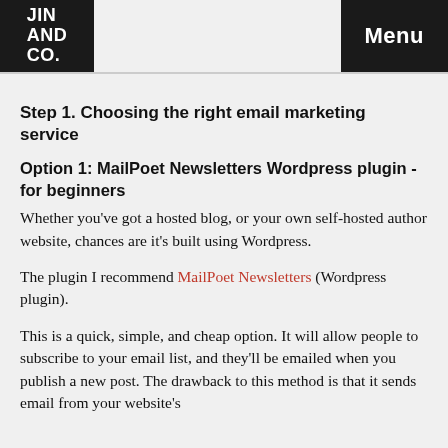JIN AND CO. | Menu
Step 1. Choosing the right email marketing service
Option 1: MailPoet Newsletters Wordpress plugin - for beginners
Whether you've got a hosted blog, or your own self-hosted author website, chances are it's built using Wordpress.
The plugin I recommend MailPoet Newsletters (Wordpress plugin).
This is a quick, simple, and cheap option. It will allow people to subscribe to your email list, and they'll be emailed when you publish a new post. The drawback to this method is that it sends email from your website's